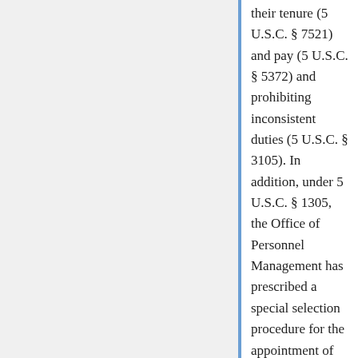their tenure (5 U.S.C. § 7521) and pay (5 U.S.C. § 5372) and prohibiting inconsistent duties (5 U.S.C. § 3105). In addition, under 5 U.S.C. § 1305, the Office of Personnel Management has prescribed a special selection procedure for the appointment of ALJs. Currently, there are over 1,900 ALJs in the federal